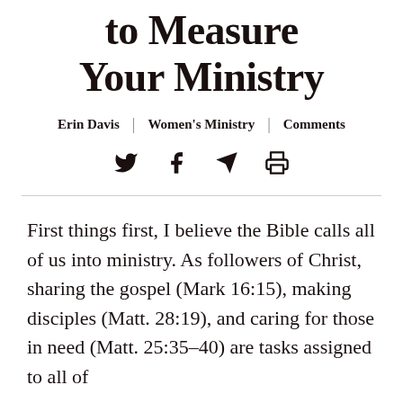to Measure Your Ministry
Erin Davis | Women's Ministry | Comments
[Figure (other): Social sharing icons: Twitter bird, Facebook f, Telegram paper plane, print icon]
First things first, I believe the Bible calls all of us into ministry. As followers of Christ, sharing the gospel (Mark 16:15), making disciples (Matt. 28:19), and caring for those in need (Matt. 25:35–40) are tasks assigned to all of